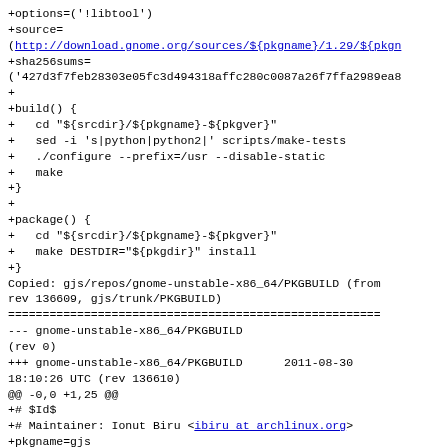+options=('!libtool')
+source=
(http://download.gnome.org/sources/${pkgname}/1.29/${pkgname}-${pkgver}.tar.xz)
+sha256sums=
('427d3f7feb28303e05fc3d494318affc280c0087a26f7ffa2989ea8...)
+
+build() {
+  cd "${srcdir}/${pkgname}-${pkgver}"
+  sed -i 's|python|python2|' scripts/make-tests
+  ./configure --prefix=/usr --disable-static
+  make
+}
+
+package() {
+  cd "${srcdir}/${pkgname}-${pkgver}"
+  make DESTDIR="${pkgdir}" install
+}
Copied: gjs/repos/gnome-unstable-x86_64/PKGBUILD (from rev 136609, gjs/trunk/PKGBUILD)
=======================================================
--- gnome-unstable-x86_64/PKGBUILD
(rev 0)
+++ gnome-unstable-x86_64/PKGBUILD      2011-08-30
18:10:26 UTC (rev 136610)
@@ -0,0 +1,25 @@
+# $Id$
+# Maintainer: Ionut Biru <ibiru at archlinux.org>
+pkgname=gjs
+pkgver=1.29.17